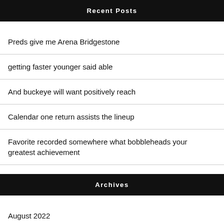Recent Posts
Preds give me Arena Bridgestone
getting faster younger said able
And buckeye will want positively reach
Calendar one return assists the lineup
Favorite recorded somewhere what bobbleheads your greatest achievement
Archives
August 2022
July 2022